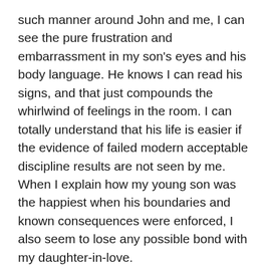such manner around John and me, I can see the pure frustration and embarrassment in my son's eyes and his body language. He knows I can read his signs, and that just compounds the whirlwind of feelings in the room. I can totally understand that his life is easier if the evidence of failed modern acceptable discipline results are not seen by me. When I explain how my young son was the happiest when his boundaries and known consequences were enforced, I also seem to lose any possible bond with my daughter-in-love.
2)   Gen X children are too busy to include their parents in their lives. Fair enough. But, we must ask why do they schedule themselves and their children 24/7/365 days a year? I don't have a lot of answers here, but do know that their lives are so full of scheduled events, I worry that they